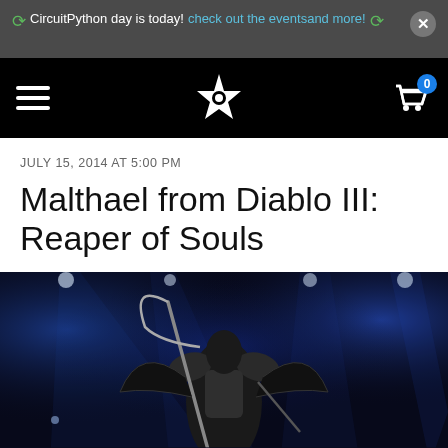CircuitPython day is today! check out the events and more!
[Figure (screenshot): Navigation bar with hamburger menu, star/flower logo, and shopping cart icon with badge showing 0]
JULY 15, 2014 AT 5:00 PM
Malthael from Diablo III: Reaper of Souls
[Figure (photo): Malthael cosplay costume from Diablo III Reaper of Souls on a stage with blue lighting and spotlights]